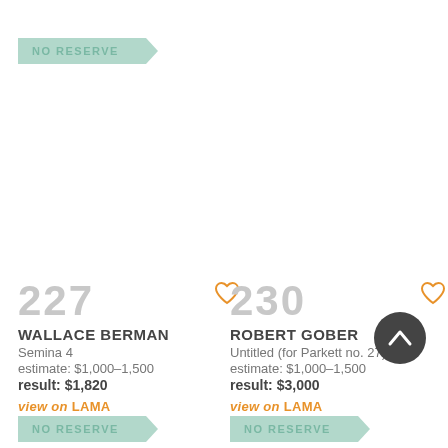[Figure (other): NO RESERVE ribbon banner top left]
227
WALLACE BERMAN
Semina 4
estimate: $1,000–1,500
result: $1,820
view on LAMA
230
ROBERT GOBER
Untitled (for Parkett no. 27)
estimate: $1,000–1,500
result: $3,000
view on LAMA
[Figure (other): NO RESERVE ribbon banner bottom left]
[Figure (other): NO RESERVE ribbon banner bottom right]